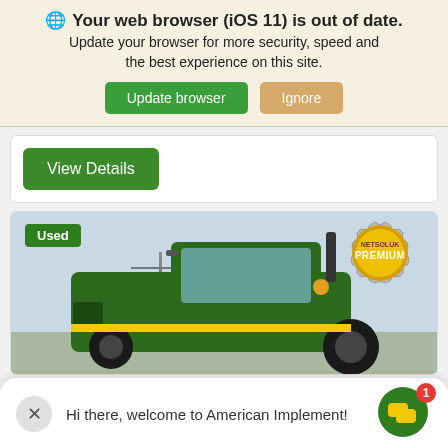🌐 Your web browser (iOS 11) is out of date. Update your browser for more security, speed and the best experience on this site.
Update browser | Ignore
View Details
[Figure (photo): Green tractor (John Deere style) photographed outdoors, with a Used badge in the top-left and a PREMIUM gear badge overlay in the top-right.]
Hi there, welcome to American Implement!